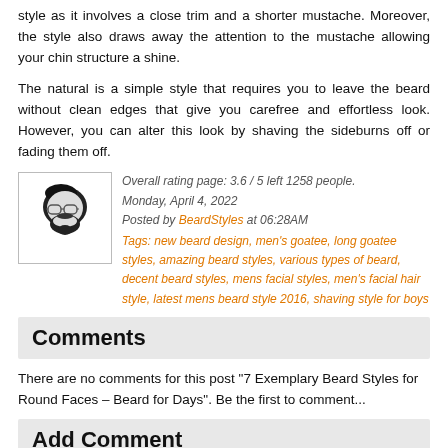style as it involves a close trim and a shorter mustache. Moreover, the style also draws away the attention to the mustache allowing your chin structure a shine.
The natural is a simple style that requires you to leave the beard without clean edges that give you carefree and effortless look. However, you can alter this look by shaving the sideburns off or fading them off.
[Figure (illustration): Avatar icon of a man with beard and glasses]
Overall rating page: 3.6 / 5 left 1258 people.
Monday, April 4, 2022
Posted by BeardStyles at 06:28AM
Tags: new beard design, men's goatee, long goatee styles, amazing beard styles, various types of beard, decent beard styles, mens facial styles, men's facial hair style, latest mens beard style 2016, shaving style for boys
Comments
There are no comments for this post "7 Exemplary Beard Styles for Round Faces – Beard for Days". Be the first to comment...
Add Comment